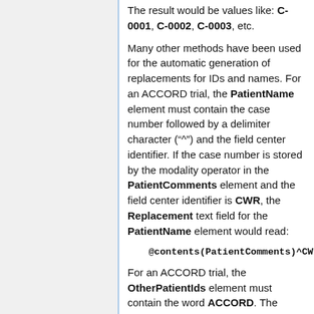The result would be values like: C-0001, C-0002, C-0003, etc.
Many other methods have been used for the automatic generation of replacements for IDs and names. For an ACCORD trial, the PatientName element must contain the case number followed by a delimiter character ("^") and the field center identifier. If the case number is stored by the modality operator in the PatientComments element and the field center identifier is CWR, the Replacement text field for the PatientName element would read:
@contents(PatientComments)^CWR
For an ACCORD trial, the OtherPatientIds element must contain the word ACCORD. The Replacement field for the OtherPatientIds element